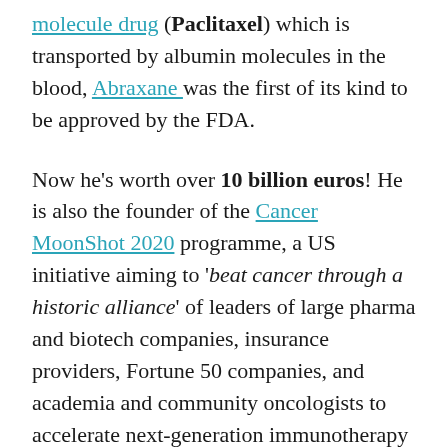molecule drug (Paclitaxel) which is transported by albumin molecules in the blood, Abraxane was the first of its kind to be approved by the FDA.
Now he's worth over 10 billion euros! He is also the founder of the Cancer MoonShot 2020 programme, a US initiative aiming to 'beat cancer through a historic alliance' of leaders of large pharma and biotech companies, insurance providers, Fortune 50 companies, and academia and community oncologists to accelerate next-generation immunotherapy in cancer.